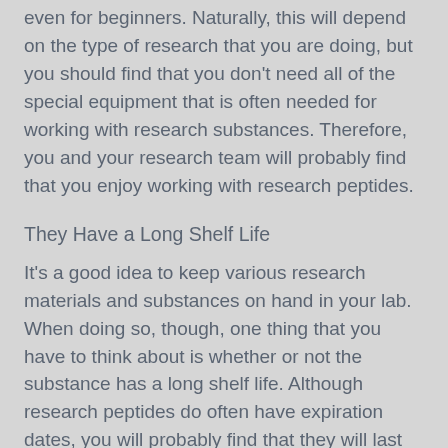even for beginners. Naturally, this will depend on the type of research that you are doing, but you should find that you don't need all of the special equipment that is often needed for working with research substances. Therefore, you and your research team will probably find that you enjoy working with research peptides.
They Have a Long Shelf Life
It's a good idea to keep various research materials and substances on hand in your lab. When doing so, though, one thing that you have to think about is whether or not the substance has a long shelf life. Although research peptides do often have expiration dates, you will probably find that they will last for a relatively long time if they are stored properly. This is a good thing, since it will make it easy for you to keep them on hand, and you won't have to worry about throwing out a lot of your materials because you have had them for too long without using them.
They're Typically Considered to Be Safe
Of course, you have to worry about safety of anyone and